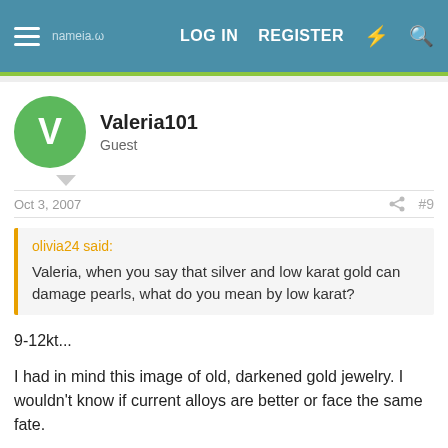LOG IN   REGISTER
Valeria101
Guest
Oct 3, 2007   #9
olivia24 said:
Valeria, when you say that silver and low karat gold can damage pearls, what do you mean by low karat?
9-12kt...
I had in mind this image of old, darkened gold jewelry. I wouldn't know if current alloys are better or face the same fate.
olivia24
Community member